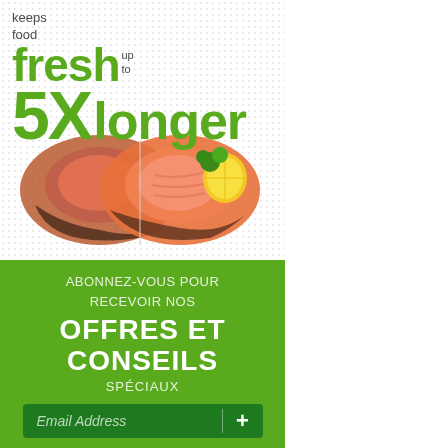[Figure (infographic): Advertisement showing a salmon steak with dotted background. Text overlay reads: 'keeps food fresh up to 5X longer' in green bold typography.]
keeps food fresh up to 5X longer
ABONNEZ-VOUS POUR RECEVOIR NOS OFFRES ET CONSEILS SPÉCIAUX
Email Address +